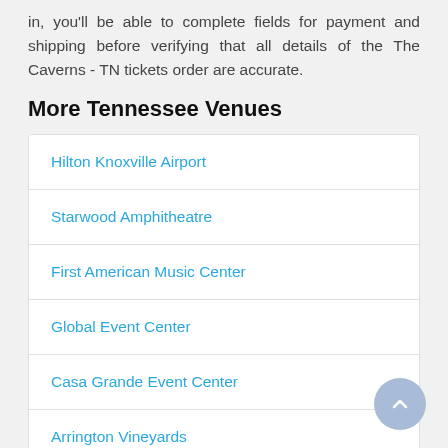in, you'll be able to complete fields for payment and shipping before verifying that all details of the The Caverns - TN tickets order are accurate.
More Tennessee Venues
Hilton Knoxville Airport
Starwood Amphitheatre
First American Music Center
Global Event Center
Casa Grande Event Center
Arrington Vineyards
McMinn County High School